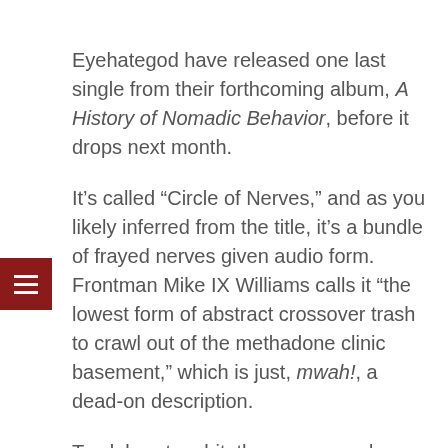Eyehategod have released one last single from their forthcoming album, A History of Nomadic Behavior, before it drops next month.
It's called “Circle of Nerves,” and as you likely inferred from the title, it’s a bundle of frayed nerves given audio form. Frontman Mike IX Williams calls it “the lowest form of abstract crossover trash to crawl out of the methadone clinic basement,” which is just, mwah!, a dead-on description.
To elaborate a bit: the song sounds so goddamn filthy that you may wanna keep some Q-tips nearby to clean out your ears after you listen to it. Like so much of the best Eyehategod music, it doesn’t